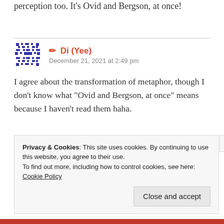perception too. It's Ovid and Bergson, at once!
Di (Yee)
December 21, 2021 at 2:49 pm
I agree about the transformation of metaphor, though I don't know what “Ovid and Bergson, at once” means because I haven't read them haha.
Privacy & Cookies: This site uses cookies. By continuing to use this website, you agree to their use.
To find out more, including how to control cookies, see here: Cookie Policy
Close and accept